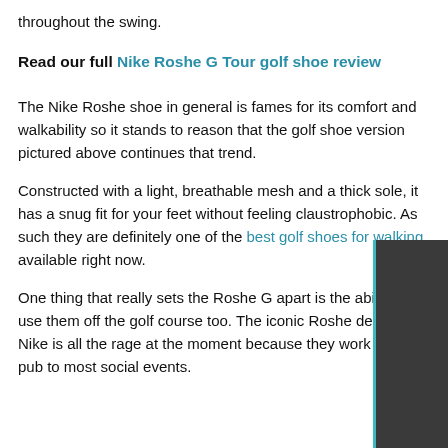throughout the swing.
Read our full Nike Roshe G Tour golf shoe review
The Nike Roshe shoe in general is fames for its comfort and walkability so it stands to reason that the golf shoe version pictured above continues that trend.
Constructed with a light, breathable mesh and a thick sole, it has a snug fit for your feet without feeling claustrophobic. As such they are definitely one of the best golf shoes for walking available right now.
One thing that really sets the Roshe G apart is the ability to use them off the golf course too. The iconic Roshe design by Nike is all the rage at the moment because they work from the pub to most social events.